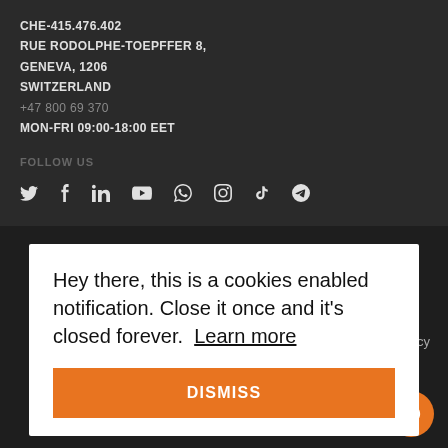CHE-415.476.402
RUE RODOLPHE-TOEPFFER 8,
GENEVA, 1206
SWITZERLAND
+47 800 69 370
MON-FRI 09:00-18:00 EET
FOLLOW US
[Figure (infographic): Social media icons: Twitter, Facebook, LinkedIn, YouTube, WhatsApp, Instagram, TikTok, Telegram]
Hey there, this is a cookies enabled notification. Close it once and it's closed forever. Learn more
DISMISS
olicy